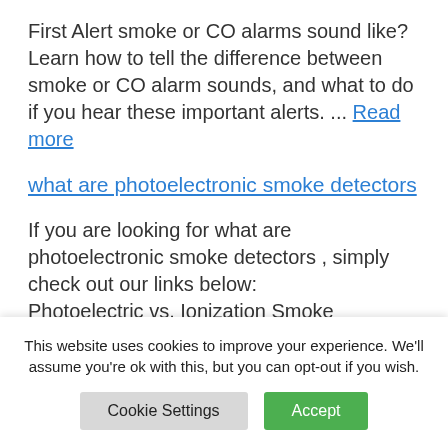First Alert smoke or CO alarms sound like? Learn how to tell the difference between smoke or CO alarm sounds, and what to do if you hear these important alerts. ... Read more
what are photoelectronic smoke detectors
If you are looking for what are photoelectronic smoke detectors , simply check out our links below:
Photoelectric vs. Ionization Smoke
This website uses cookies to improve your experience. We'll assume you're ok with this, but you can opt-out if you wish.